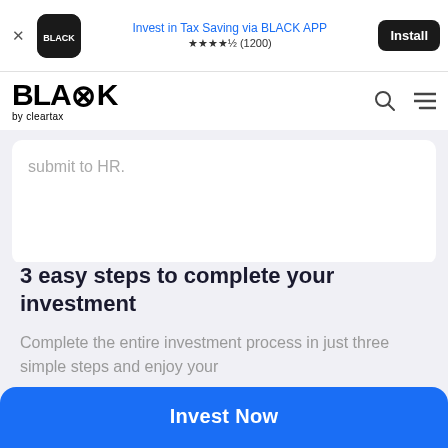[Figure (screenshot): Ad banner for BLACK app by ClearTax with install button]
[Figure (logo): BLACK by cleartax logo with search and menu icons in navigation bar]
submit to HR.
3 easy steps to complete your investment
Complete the entire investment process in just three simple steps and enjoy your
[Figure (other): Invest Now blue button at bottom of page]